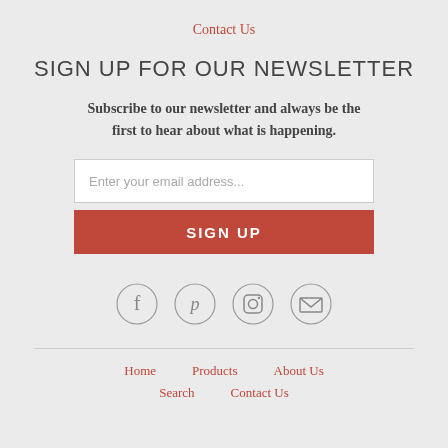Contact Us
SIGN UP FOR OUR NEWSLETTER
Subscribe to our newsletter and always be the first to hear about what is happening.
[Figure (infographic): Email input field with placeholder text 'Enter your email address...' and a red SIGN UP button below it]
[Figure (infographic): Four social media icons in circular outlines: Facebook (f), Pinterest (p), Instagram (camera), Email (envelope)]
Home    Products    About Us    Search    Contact Us